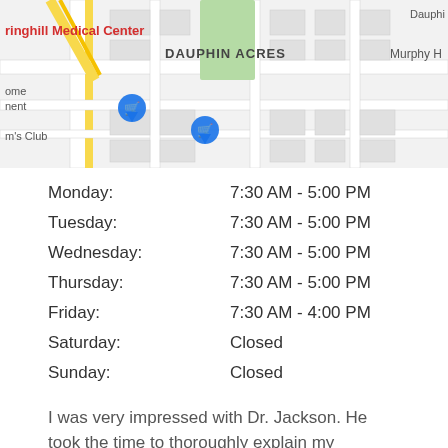[Figure (map): Google Maps screenshot showing Springhill Medical Center area with Dauphin Acres neighborhood, Murphy H road visible, and map pins for nearby locations including Sam's Club.]
| Day | Hours |
| --- | --- |
| Monday: | 7:30 AM - 5:00 PM |
| Tuesday: | 7:30 AM - 5:00 PM |
| Wednesday: | 7:30 AM - 5:00 PM |
| Thursday: | 7:30 AM - 5:00 PM |
| Friday: | 7:30 AM - 4:00 PM |
| Saturday: | Closed |
| Sunday: | Closed |
I was very impressed with Dr. Jackson. He took the time to thoroughly explain my problem and what I can do to prevent the problem in the future. Excellent! I waited a little while, but I was being worked in....
[Figure (other): Five yellow/gold star rating icons]